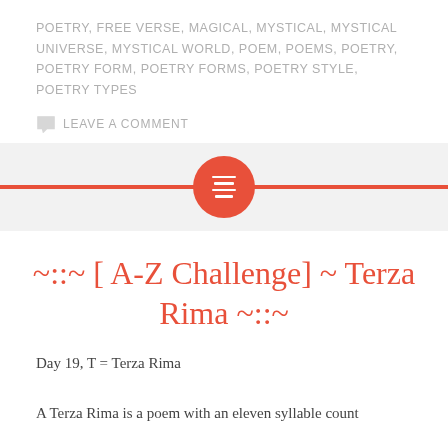POETRY, FREE VERSE, MAGICAL, MYSTICAL, MYSTICAL UNIVERSE, MYSTICAL WORLD, POEM, POEMS, POETRY, POETRY FORM, POETRY FORMS, POETRY STYLE, POETRY TYPES
LEAVE A COMMENT
[Figure (other): Red horizontal divider bar with a centered red circle containing a white lines/menu icon (list icon)]
~::~ [ A-Z Challenge] ~ Terza Rima ~::~
Day 19, T = Terza Rima
A Terza Rima is a poem with an eleven syllable count